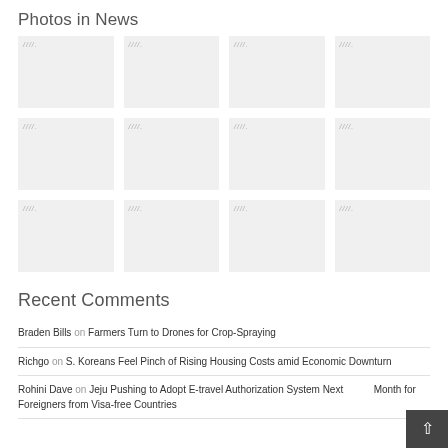Photos in News
[Figure (other): Grid of 12 placeholder photo thumbnails arranged in 4 columns and 3 rows, each with a small hatched/striped placeholder icon in the top-left corner]
Recent Comments
Braden Bills on Farmers Turn to Drones for Crop-Spraying
Richgo on S. Koreans Feel Pinch of Rising Housing Costs amid Economic Downturn
Rohini Dave on Jeju Pushing to Adopt E-travel Authorization System Next Month for Foreigners from Visa-free Countries